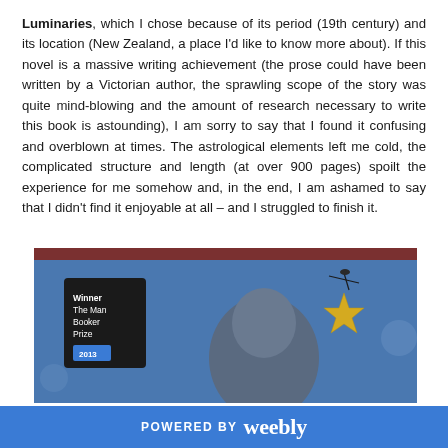Luminaries, which I chose because of its period (19th century) and its location (New Zealand, a place I'd like to know more about). If this novel is a massive writing achievement (the prose could have been written by a Victorian author, the sprawling scope of the story was quite mind-blowing and the amount of research necessary to write this book is astounding), I am sorry to say that I found it confusing and overblown at times. The astrological elements left me cold, the complicated structure and length (at over 900 pages) spoilt the experience for me somehow and, in the end, I am ashamed to say that I didn't find it enjoyable at all – and I struggled to finish it.
[Figure (photo): Photo of a book cover for The Luminaries showing a blue background with a silhouette of a person's head and a gold star shape, with a black badge reading 'Winner The Man Booker Prize 2013']
POWERED BY weebly